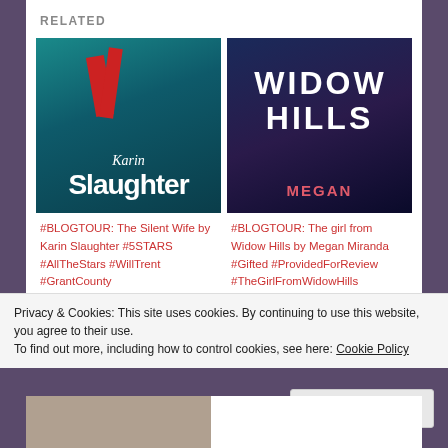RELATED
[Figure (illustration): Book cover of Karin Slaughter novel with teal/dark background, red ribbon, author name 'Karin Slaughter']
#BLOGTOUR: The Silent Wife by Karin Slaughter #5STARS #AllTheStars #WillTrent #GrantCounty #ProvidedForReview @FictionPubTeam @SlaughterKarin @annecater #RandomThingsTours
[Figure (illustration): Book cover of 'Widow Hills' with dark blue/purple background, large white title text WIDOW HILLS, MEGAN in pink at bottom]
#BLOGTOUR: The girl from Widow Hills by Megan Miranda #Gifted #ProvidedForReview #TheGirlFromWidowHills @MeganLMiranda @CorvusBooks #RandomThingsTours @RandomTTours 10th Jul 2020
Privacy & Cookies: This site uses cookies. By continuing to use this website, you agree to their use.
To find out more, including how to control cookies, see here: Cookie Policy
Close and accept
[Figure (photo): Partial book cover image at bottom of page]